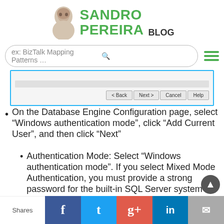SANDRO PEREIRA BLOG
ex: BizTalk Mapping Patterns ...
[Figure (screenshot): Dialog box bottom with navigation buttons: < Back, Next >, Cancel, Help]
On the Database Engine Configuration page, select “Windows authentication mode”, click “Add Current User”, and then click “Next”
Authentication Mode: Select “Windows authentication mode”. If you select Mixed Mode Authentication, you must provide a strong password for the built-in SQL Server system administrator account.
Shares | Facebook | Twitter | Google+ | LinkedIn | Email